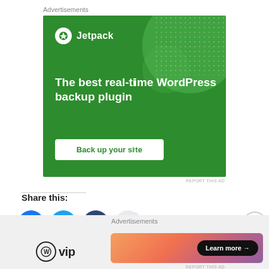Advertisements
[Figure (advertisement): Jetpack WordPress plugin advertisement on green background with headline 'The best real-time WordPress backup plugin' and 'Back up your site' button]
REPORT THIS AD
Share this:
[Figure (infographic): Social sharing icons: Facebook (blue), Twitter (blue), Tumblr (dark blue), Reddit (light grey)]
Advertisements
[Figure (advertisement): WordPress VIP advertisement with gradient background and 'Learn more →' button]